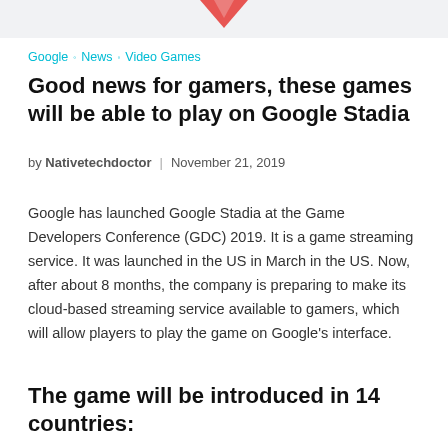Google ◦ News ◦ Video Games
Good news for gamers, these games will be able to play on Google Stadia
by Nativetechdoctor | November 21, 2019
Google has launched Google Stadia at the Game Developers Conference (GDC) 2019. It is a game streaming service. It was launched in the US in March in the US. Now, after about 8 months, the company is preparing to make its cloud-based streaming service available to gamers, which will allow players to play the game on Google's interface.
The game will be introduced in 14 countries: